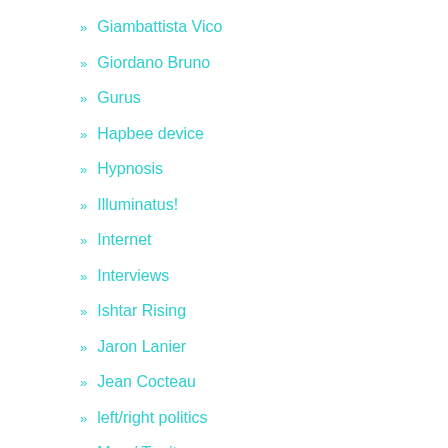Giambattista Vico
Giordano Bruno
Gurus
Hapbee device
Hypnosis
Illuminatus!
Internet
Interviews
Ishtar Rising
Jaron Lanier
Jean Cocteau
left/right politics
Map / Territory
Marshall McLuhan
Matrist / Patrist